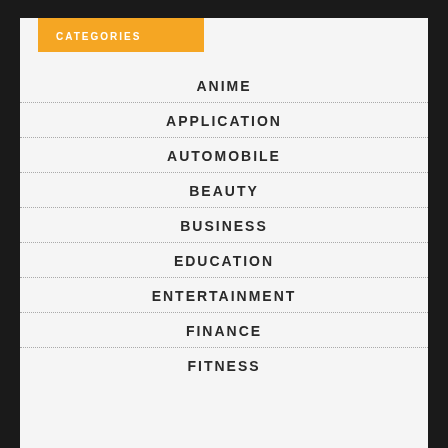CATEGORIES
ANIME
APPLICATION
AUTOMOBILE
BEAUTY
BUSINESS
EDUCATION
ENTERTAINMENT
FINANCE
FITNESS